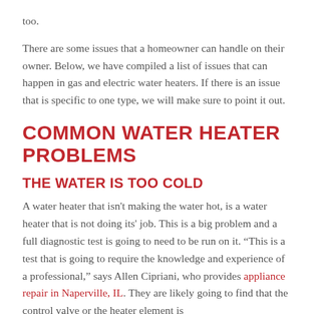too.
There are some issues that a homeowner can handle on their owner. Below, we have compiled a list of issues that can happen in gas and electric water heaters. If there is an issue that is specific to one type, we will make sure to point it out.
COMMON WATER HEATER PROBLEMS
THE WATER IS TOO COLD
A water heater that isn't making the water hot, is a water heater that is not doing its' job. This is a big problem and a full diagnostic test is going to need to be run on it. “This is a test that is going to require the knowledge and experience of a professional,” says Allen Cipriani, who provides appliance repair in Naperville, IL. They are likely going to find that the control valve or the heater element is